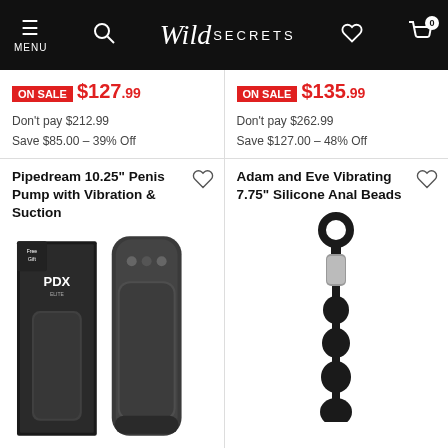Wild Secrets — MENU, search, wishlist, cart (0)
ON SALE $127.99
Don't pay $212.99
Save $85.00 – 39% Off
ON SALE $135.99
Don't pay $262.99
Save $127.00 – 48% Off
Pipedream 10.25" Penis Pump with Vibration & Suction
[Figure (photo): PDX Elite penis pump product with box, transparent cylindrical pump device]
Adam and Eve Vibrating 7.75" Silicone Anal Beads
[Figure (photo): Black silicone anal beads with ring top and silver vibrator bullet]